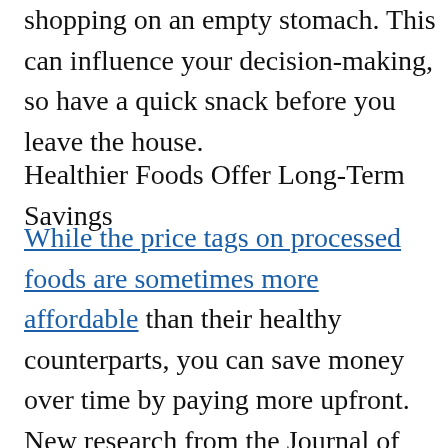shopping on an empty stomach. This can influence your decision-making, so have a quick snack before you leave the house.
Healthier Foods Offer Long-Term Savings
While the price tags on processed foods are sometimes more affordable than their healthy counterparts, you can save money over time by paying more upfront. New research from the Journal of the American Dietetic Association found that households that have